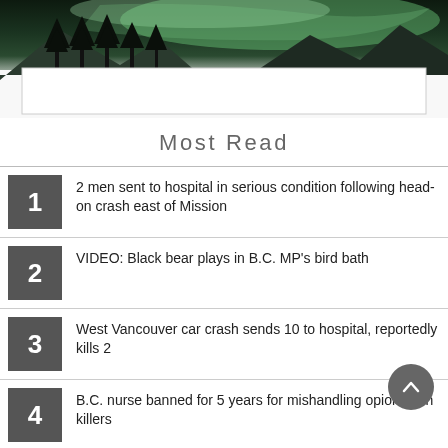[Figure (photo): Partial photo of northern lights (aurora borealis) over snowy mountain landscape with pine trees, partially cropped at top of page]
Most Read
2 men sent to hospital in serious condition following head-on crash east of Mission
VIDEO: Black bear plays in B.C. MP's bird bath
West Vancouver car crash sends 10 to hospital, reportedly kills 2
B.C. nurse banned for 5 years for mishandling opioid pain killers
PHOTO: ...